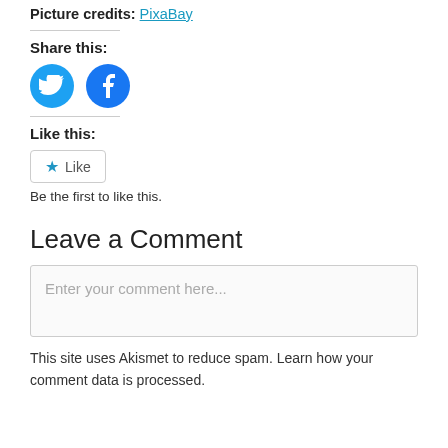Picture credits: PixaBay
Share this:
[Figure (illustration): Twitter and Facebook social sharing icon buttons (colored circles with white logos)]
Like this:
[Figure (illustration): WordPress Like button with star icon and 'Like' text]
Be the first to like this.
Leave a Comment
Enter your comment here...
This site uses Akismet to reduce spam. Learn how your comment data is processed.